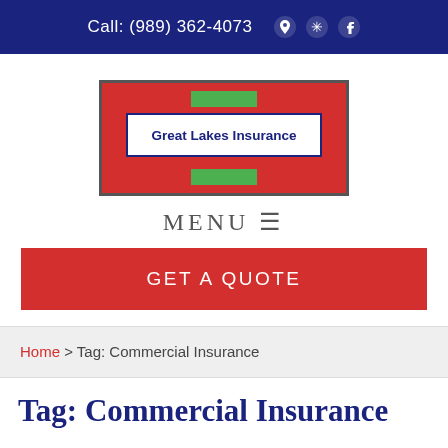Call: (989) 362-4073
[Figure (logo): Great Lakes Insurance logo: red bordered box with green accent bars and white inner box containing company name in dark blue bold text]
MENU ☰
GET A QUOTE
Home > Tag: Commercial Insurance
Tag: Commercial Insurance